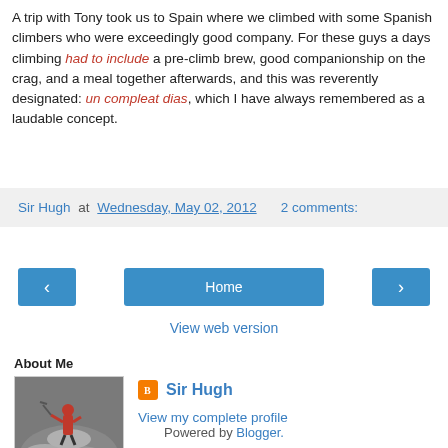A trip with Tony took us to Spain where we climbed with some Spanish climbers who were exceedingly good company. For these guys a days climbing had to include a pre-climb brew, good companionship on the crag, and a meal together afterwards, and this was reverently designated: un compleat dias, which I have always remembered as a laudable concept.
Sir Hugh at Wednesday, May 02, 2012   2 comments:
[Figure (screenshot): Navigation buttons: left arrow, Home, right arrow]
View web version
About Me
[Figure (photo): Profile photo showing a climber on a rock summit]
Sir Hugh
View my complete profile
Powered by Blogger.